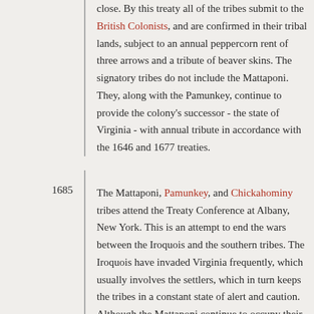close. By this treaty all of the tribes submit to the British Colonists, and are confirmed in their tribal lands, subject to an annual peppercorn rent of three arrows and a tribute of beaver skins. The signatory tribes do not include the Mattaponi. They, along with the Pamunkey, continue to provide the colony's successor - the state of Virginia - with annual tribute in accordance with the 1646 and 1677 treaties.
1685 — The Mattaponi, Pamunkey, and Chickahominy tribes attend the Treaty Conference at Albany, New York. This is an attempt to end the wars between the Iroquois and the southern tribes. The Iroquois have invaded Virginia frequently, which usually involves the settlers, which in turn keeps the tribes in a constant state of alert and caution. Although the Mattaponi continue to occupy their reservation throughout the seventeenth and eighteenth centuries, incoming colonists continually make